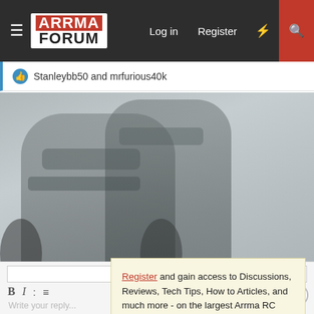ARRMA FORUM — Log in  Register
Stanleybb50 and mrfurious40k
[Figure (photo): RC monster trucks in an outdoor setting, faded/greyed background image]
Register and gain access to Discussions, Reviews, Tech Tips, How to Articles, and much more - on the largest Arrma RC community for RC enthusiasts that covers all aspects of the Arrma-RC brand!

Register Today It's free! This box will disappear once registered!